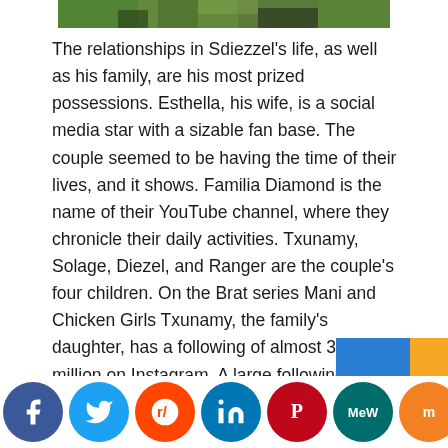[Figure (photo): Top portion of a photo showing people outdoors with green foliage background, partially cropped]
The relationships in Sdiezzel's life, as well as his family, are his most prized possessions. Esthella, his wife, is a social media star with a sizable fan base. The couple seemed to be having the time of their lives, and it shows. Familia Diamond is the name of their YouTube channel, where they chronicle their daily activities. Txunamy, Solage, Diezel, and Ranger are the couple's four children. On the Brat series Mani and Chicken Girls Txunamy, the family's daughter, has a following of almost 3.8 million on Instagram. A large following of Diezel, Solage, and Ranger can also be found on the Instagram platform. Sdiezzel Ortiz is a 5-
[Figure (infographic): Social media sharing bar with icons for Facebook, Twitter, Reddit, LinkedIn, Pinterest, MeWe, Mix, WhatsApp, and More/Share]